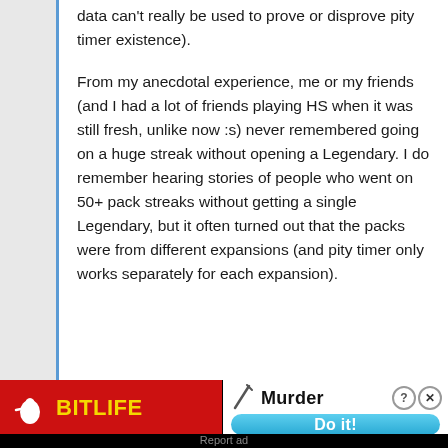data can't really be used to prove or disprove pity timer existence).

From my anecdotal experience, me or my friends (and I had a lot of friends playing HS when it was still fresh, unlike now :s) never remembered going on a huge streak without opening a Legendary. I do remember hearing stories of people who went on 50+ pack streaks without getting a single Legendary, but it often turned out that the packs were from different expansions (and pity timer only works separately for each expansion).
[Figure (infographic): Advertisement banner: BitLife app ad on the left with red background and yellow logo text, and a game ad on the right showing 'Murder' text with pencil icon, close/help buttons, and a blue 'Do it!' button.]
Report ad